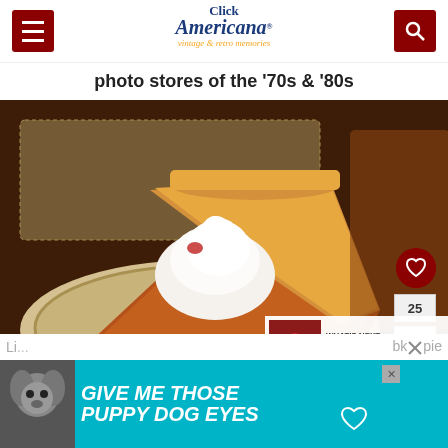Click Americana — vintage & retro memories
photo stores of the '70s & '80s
[Figure (photo): A slice of pumpkin pie with whipped cream on a plate, with a doily and other pie in background. Overlaid UI elements include a heart button, share count of 25, and a share button.]
[Figure (infographic): What's Next panel showing a thumbnail of cherry cheesecake with text 'WHAT'S NEXT → Cherry Breeze cheesecake...']
[Figure (photo): Advertisement banner: 'GIVE ME THOSE PUPPY DOG EYES' with a dog photo on teal background, with close button.]
Li...bk pie